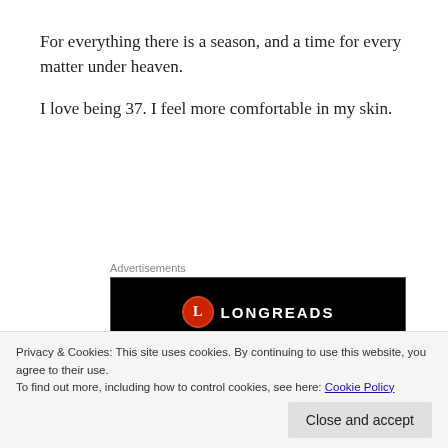For everything there is a season, and a time for every matter under heaven.
I love being 37. I feel more comfortable in my skin.
[Figure (screenshot): Longreads advertisement banner with black background showing the Longreads logo (red circle with white L) and the text 'Read anything great lately?']
Privacy & Cookies: This site uses cookies. By continuing to use this website, you agree to their use.
To find out more, including how to control cookies, see here: Cookie Policy
Close and accept